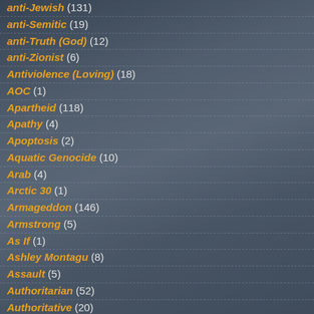anti-Jewish (131)
anti-Semitic (19)
anti-Truth (God) (12)
anti-Zionist (6)
Antiviolence (Loving) (18)
AOC (1)
Apartheid (118)
Apathy (4)
Apoptosis (2)
Aquatic Genocide (10)
Arab (4)
Arctic 30 (1)
Armageddon (146)
Armstrong (5)
As If (1)
Ashley Montagu (8)
Assault (5)
Authoritarian (52)
Authoritative (20)